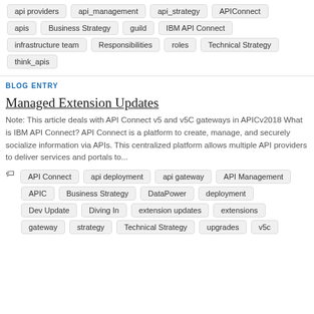api providers
api_management
api_strategy
APIConnect
apis
Business Strategy
guild
IBM API Connect
infrastructure team
Responsibilities
roles
Technical Strategy
think_apis
BLOG ENTRY
Managed Extension Updates
Note: This article deals with API Connect v5 and v5C gateways in APICv2018 What is IBM API Connect? API Connect is a platform to create, manage, and securely socialize information via APIs. This centralized platform allows multiple API providers to deliver services and portals to...
API Connect
api deployment
api gateway
API Management
APIC
Business Strategy
DataPower
deployment
Dev Update
Diving In
extension updates
extensions
gateway
strategy
Technical Strategy
upgrades
v5c